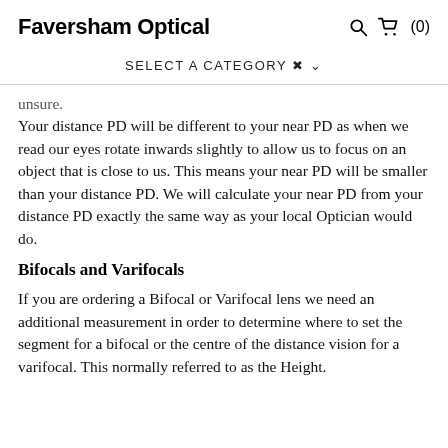Faversham Optical
SELECT A CATEGORY ▾
unsure.
Your distance PD will be different to your near PD as when we read our eyes rotate inwards slightly to allow us to focus on an object that is close to us. This means your near PD will be smaller than your distance PD. We will calculate your near PD from your distance PD exactly the same way as your local Optician would do.
Bifocals and Varifocals
If you are ordering a Bifocal or Varifocal lens we need an additional measurement in order to determine where to set the segment for a bifocal or the centre of the distance vision for a varifocal. This normally referred to as the Height.